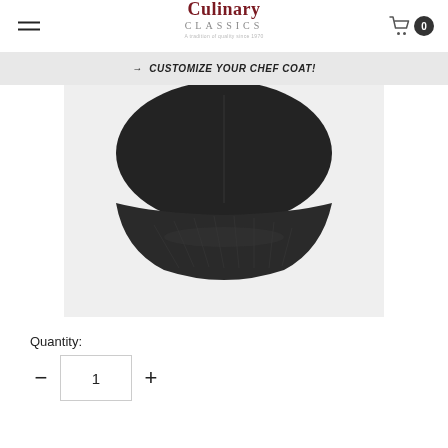Culinary Classics — navigation header with hamburger menu and cart icon showing 0 items
→ CUSTOMIZE YOUR CHEF COAT!
[Figure (photo): Close-up photo of the brim/bill of a dark black baseball cap against a light grey/white background, viewed from below showing the underside of the brim with visible stitching]
Quantity:
1